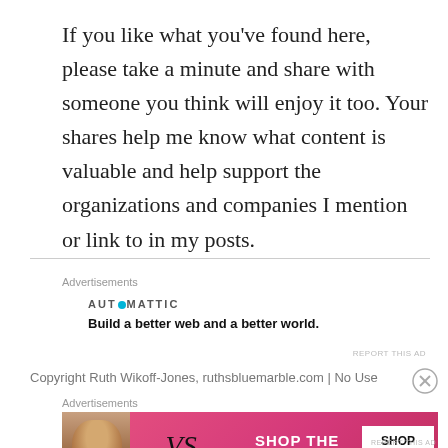If you like what you've found here, please take a minute and share with someone you think will enjoy it too. Your shares help me know what content is valuable and help support the organizations and companies I mention or link to in my posts.
Advertisements
[Figure (logo): Automattic logo with circular dot and tagline: Build a better web and a better world.]
REPORT THIS AD
Copyright Ruth Wikoff-Jones, ruthsbluemarble.com | No Use
Advertisements
[Figure (illustration): Victoria's Secret advertisement banner with model, VS logo, text 'SHOP THE COLLECTION' and 'SHOP NOW' button on pink background.]